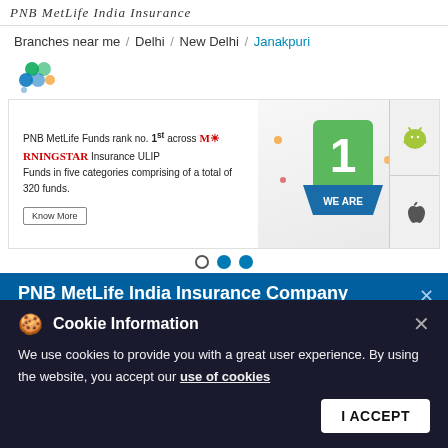PNB MetLife India Insurance
Branches near me / Delhi / New Delhi / Janakpuri
[Figure (logo): PNB MetLife colorful dots logo]
[Figure (infographic): PNB MetLife Funds rank no. 1st across MORNINGSTAR Insurance ULIP Funds in five categories comprising of a total of 320 funds. Banner with trophy/award image and Know More button. Slider dots below.]
PNB MetLife India Insurance Company Limited
Janakpuri
No B23, 1st Floor, Community Centre
Cookie Information
We use cookies to provide you with a great user experience. By using the website, you accept our use of cookies
I ACCEPT